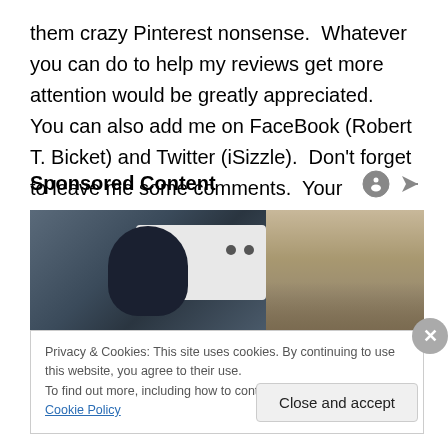them crazy Pinterest nonsense.  Whatever you can do to help my reviews get more attention would be greatly appreciated.  You can also add me on FaceBook (Robert T. Bicket) and Twitter (iSizzle).  Don't forget to leave me some comments.  Your opinions and constructive criticisms are always appreciated.
Sponsored Content
[Figure (photo): A person in dark clothing standing in front of a white vehicle, outdoor background with bare trees and dry landscape]
Privacy & Cookies: This site uses cookies. By continuing to use this website, you agree to their use.
To find out more, including how to control cookies, see here: Cookie Policy
Close and accept